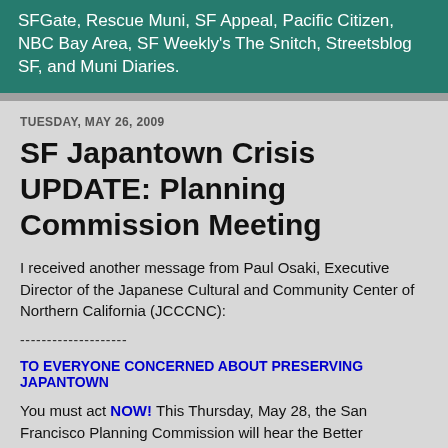SFGate, Rescue Muni, SF Appeal, Pacific Citizen, NBC Bay Area, SF Weekly's The Snitch, Streetsblog SF, and Muni Diaries.
TUESDAY, MAY 26, 2009
SF Japantown Crisis UPDATE: Planning Commission Meeting
I received another message from Paul Osaki, Executive Director of the Japanese Cultural and Community Center of Northern California (JCCCNC):
--------------------
TO EVERYONE CONCERNED ABOUT PRESERVING JAPANTOWN
You must act NOW! This Thursday, May 28, the San Francisco Planning Commission will hear the Better Neighborhood Plan for